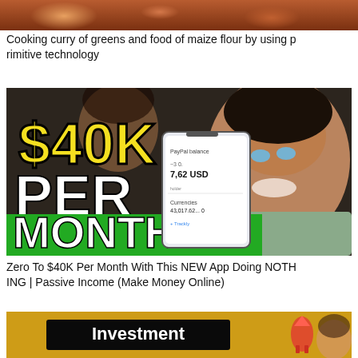[Figure (photo): Cropped top portion of a food/cooking image, showing warm brown-orange tones]
Cooking curry of greens and food of maize flour by using primitive technology
[Figure (photo): YouTube thumbnail showing '$40K PER MONTH' in large yellow and white text on green background, with a man holding a phone showing PayPal balance of $40,017.62 USD]
Zero To $40K Per Month With This NEW App Doing NOTHING | Passive Income (Make Money Online)
[Figure (photo): Partial YouTube thumbnail showing 'Investment' text in white on black background over a golden/yellow background with a person visible]